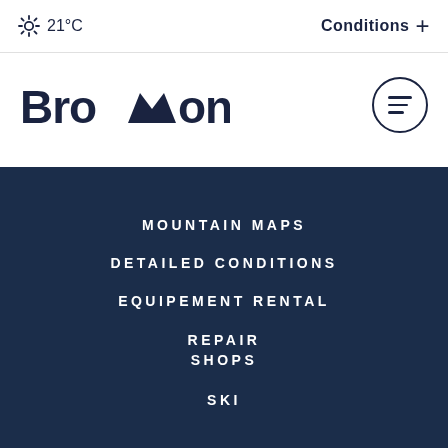☀ 21°C   Conditions +
Bromont
MOUNTAIN MAPS
DETAILED CONDITIONS
EQUIPEMENT RENTAL
REPAIR SHOPS
SKI